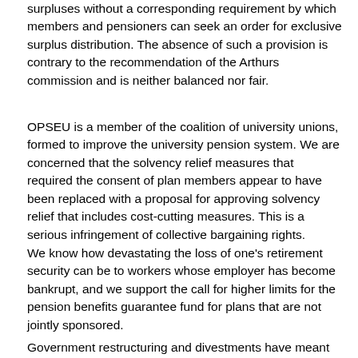surpluses without a corresponding requirement by which members and pensioners can seek an order for exclusive surplus distribution. The absence of such a provision is contrary to the recommendation of the Arthurs commission and is neither balanced nor fair.
OPSEU is a member of the coalition of university unions, formed to improve the university pension system. We are concerned that the solvency relief measures that required the consent of plan members appear to have been replaced with a proposal for approving solvency relief that includes cost-cutting measures. This is a serious infringement of collective bargaining rights.
We know how devastating the loss of one's retirement security can be to workers whose employer has become bankrupt, and we support the call for higher limits for the pension benefits guarantee fund for plans that are not jointly sponsored.
Government restructuring and divestments have meant